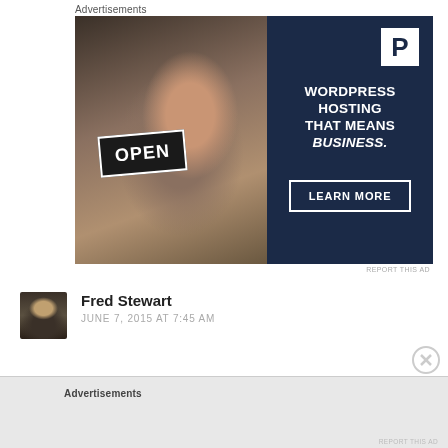Advertisements
[Figure (illustration): Advertisement banner for WordPress hosting. Left half shows a Black woman smiling holding an OPEN sign. Right half is dark navy with a white P logo, text reading WORDPRESS HOSTING THAT MEANS BUSINESS. and a LEARN MORE button.]
REPORT THIS AD
[Figure (photo): Small avatar photo of Fred Stewart, a man in a suit]
Fred Stewart
JUNE 7, 2015 AT 7:45 AM
Advertisements
REPORT THIS AD